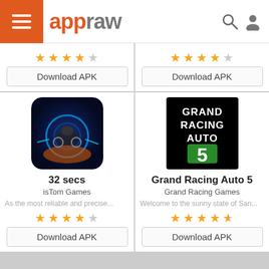appraw
[Figure (screenshot): App listing card - partial top showing star rating (4 out of 5) and Download APK button]
[Figure (screenshot): App listing card - partial top showing star rating (4.5 out of 5) and Download APK button]
[Figure (screenshot): App icon for 32 secs - dark sci-fi motorcycle racing game with neon lights]
32 secs
isTom Games
As the most reliable and precise...
Download APK
[Figure (screenshot): App icon for Grand Racing Auto 5 - black background with green and white logo text]
Grand Racing Auto 5
Grand Racing Games
Welcome to the sunny state of San...
Download APK
[Figure (screenshot): Partial bottom app icon - sky background with character]
[Figure (screenshot): Partial bottom app icon - Drift Legends DL dark background]